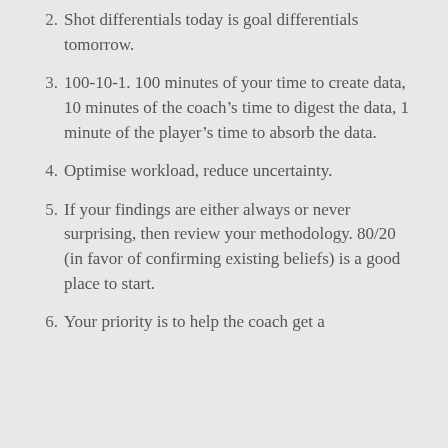Shot differentials today is goal differentials tomorrow.
100-10-1. 100 minutes of your time to create data, 10 minutes of the coach’s time to digest the data, 1 minute of the player’s time to absorb the data.
Optimise workload, reduce uncertainty.
If your findings are either always or never surprising, then review your methodology. 80/20 (in favor of confirming existing beliefs) is a good place to start.
Your priority is to help the coach get a